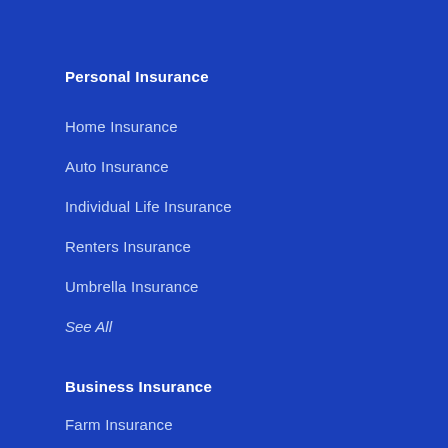Personal Insurance
Home Insurance
Auto Insurance
Individual Life Insurance
Renters Insurance
Umbrella Insurance
See All
Business Insurance
Farm Insurance
Business Owners Insurance